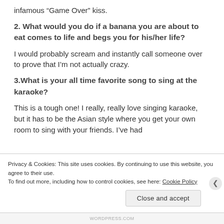infamous “Game Over” kiss.
2. What would you do if a banana you are about to eat comes to life and begs you for his/her life?
I would probably scream and instantly call someone over to prove that I’m not actually crazy.
3.What is your all time favorite song to sing at the karaoke?
This is a tough one! I really, really love singing karaoke, but it has to be the Asian style where you get your own room to sing with your friends. I’ve had
Privacy & Cookies: This site uses cookies. By continuing to use this website, you agree to their use.
To find out more, including how to control cookies, see here: Cookie Policy
Close and accept